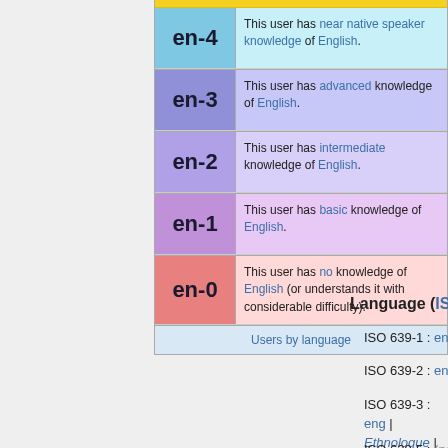| Code | Description |
| --- | --- |
| en-4 | This user has near native speaker knowledge of English. |
| en-3 | This user has advanced knowledge of English. |
| en-2 | This user has intermediate knowledge of English. |
| en-1 | This user has basic knowledge of English. |
| en-0 | This user has no knowledge of English (or understands it with considerable difficulty). |
Users by language
Language (ISO 639)
ISO 639-1: en
ISO 639-2: eng
ISO 639-3: eng | Ethnologue | Glottolog | Multitree | Odin | OLAC | OmegaWiki
ISO 639-5: (none)